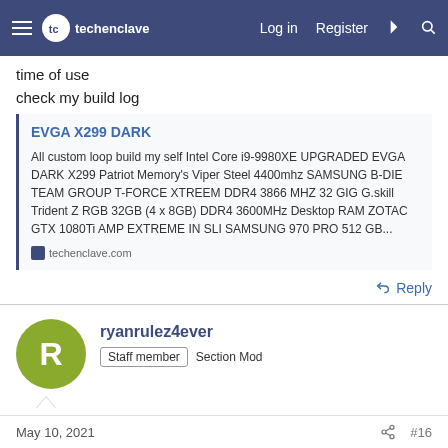techenclave — Log in | Register
time of use
check my build log
[Figure (screenshot): Link preview card for EVGA X299 DARK on techenclave.com with description of custom loop build components]
Reply
ryanrulez4ever — Staff member, Section Mod
May 10, 2021  #16